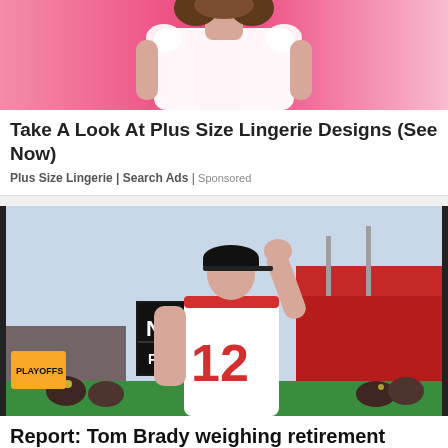[Figure (photo): Woman in white top against pink background, cropped to show torso and lower face, advertisement image for plus size lingerie]
Take A Look At Plus Size Lingerie Designs (See Now)
Plus Size Lingerie | Search Ads | Sponsored
[Figure (photo): Tom Brady in Tampa Bay Buccaneers #12 white jersey waving to the crowd on a football field, with scoreboard showing NEXT G PLAYOFFS in background, stadium filled with fans]
Report: Tom Brady weighing retirement